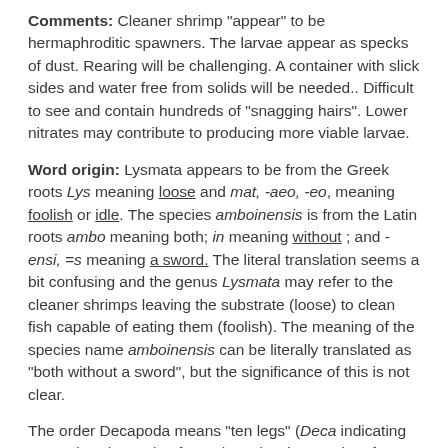Comments: Cleaner shrimp "appear" to be hermaphroditic spawners. The larvae appear as specks of dust. Rearing will be challenging. A container with slick sides and water free from solids will be needed.. Difficult to see and contain hundreds of "snagging hairs". Lower nitrates may contribute to producing more viable larvae.
Word origin: Lysmata appears to be from the Greek roots Lys meaning loose and mat, -aeo, -eo, meaning foolish or idle. The species amboinensis is from the Latin roots ambo meaning both; in meaning without ; and -ensi, =s meaning a sword. The literal translation seems a bit confusing and the genus Lysmata may refer to the cleaner shrimps leaving the substrate (loose) to clean fish capable of eating them (foolish). The meaning of the species name amboinensis can be literally translated as "both without a sword", but the significance of this is not clear.
The order Decapoda means "ten legs" (Deca indicating ten and pod meaning foot. The suborder Nantia refers to shrimp. The family Hippolytidae...